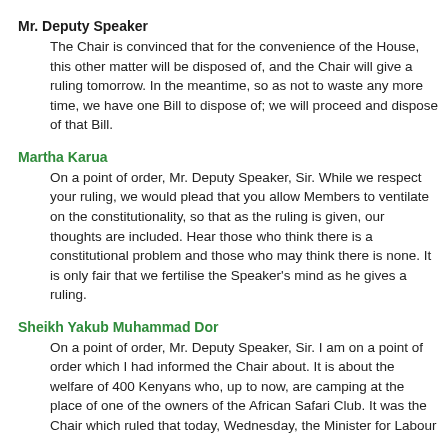Mr. Deputy Speaker
The Chair is convinced that for the convenience of the House, this other matter will be disposed of, and the Chair will give a ruling tomorrow. In the meantime, so as not to waste any more time, we have one Bill to dispose of; we will proceed and dispose of that Bill.
Martha Karua
On a point of order, Mr. Deputy Speaker, Sir. While we respect your ruling, we would plead that you allow Members to ventilate on the constitutionality, so that as the ruling is given, our thoughts are included. Hear those who think there is a constitutional problem and those who may think there is none. It is only fair that we fertilise the Speaker's mind as he gives a ruling.
Sheikh Yakub Muhammad Dor
On a point of order, Mr. Deputy Speaker, Sir. I am on a point of order which I had informed the Chair about. It is about the welfare of 400 Kenyans who, up to now, are camping at the place of one of the owners of the African Safari Club. It was the Chair which ruled that today, Wednesday, the Minister for Labour